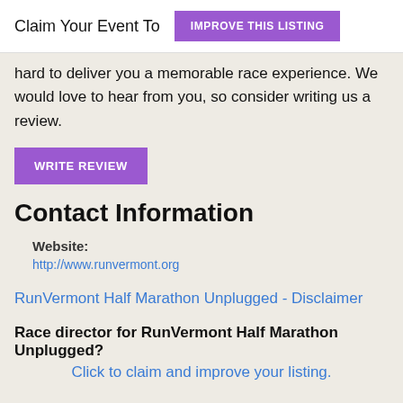Claim Your Event To  IMPROVE THIS LISTING
hard to deliver you a memorable race experience. We would love to hear from you, so consider writing us a review.
WRITE REVIEW
Contact Information
Website:
http://www.runvermont.org
RunVermont Half Marathon Unplugged - Disclaimer
Race director for RunVermont Half Marathon Unplugged?
Click to claim and improve your listing.